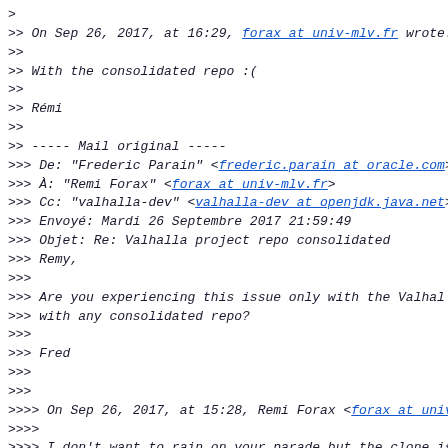>
>> On Sep 26, 2017, at 16:29, forax at univ-mlv.fr wrote.
>>
>> With the consolidated repo :(
>>
>> Rémi
>>
>> ----- Mail original -----
>>> De: "Frederic Parain" <frederic.parain at oracle.com>
>>> À: "Remi Forax" <forax at univ-mlv.fr>
>>> Cc: "valhalla-dev" <valhalla-dev at openjdk.java.net>
>>> Envoyé: Mardi 26 Septembre 2017 21:59:49
>>> Objet: Re: Valhalla project repo consolidated
>>> Remy,
>>>
>>> Are you experiencing this issue only with the Valhalla
>>> with any consolidated repo?
>>>
>>> Fred
>>>
>>>
>>>> On Sep 26, 2017, at 15:28, Remi Forax <forax at univ
>>>>
>>>> I don't want to rain on your parade but the clone is
>>>>
>>>>  From 6 mins before the consolidation to 18 mins,
>>>> it's so slow that Travis stop because it exceeds the
>>>>
>>>> Rémi
>>>>